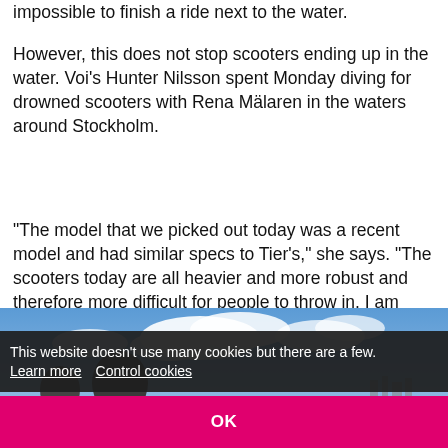impossible to finish a ride next to the water.
However, this does not stop scooters ending up in the water. Voi’s Hunter Nilsson spent Monday diving for drowned scooters with Rena Mälaren in the waters around Stockholm.
“The model that we picked out today was a recent model and had similar specs to Tier’s,” she says. “The scooters today are all heavier and more robust and therefore more difficult for people to throw in. I am amazed that they still do it.”
[Figure (photo): Outdoor photo showing a person near water with a blue sky and clouds in the background, taken in Stockholm.]
This website doesn’t use many cookies but there are a few. Learn more  Control cookies
OK